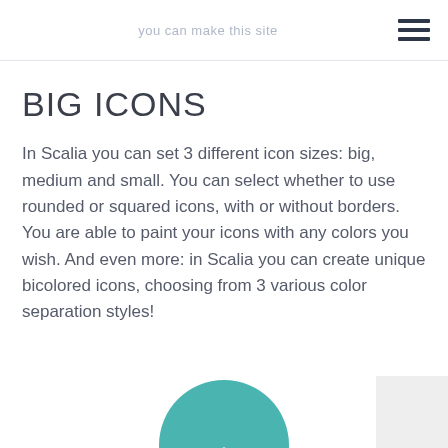you can make this site
BIG ICONS
In Scalia you can set 3 different icon sizes: big, medium and small. You can select whether to use rounded or squared icons, with or without borders. You are able to paint your icons with any colors you wish. And even more: in Scalia you can create unique bicolored icons, choosing from 3 various color separation styles!
[Figure (illustration): Partial teal/turquoise circular icon with a mountain/arrow symbol visible at bottom center of page]